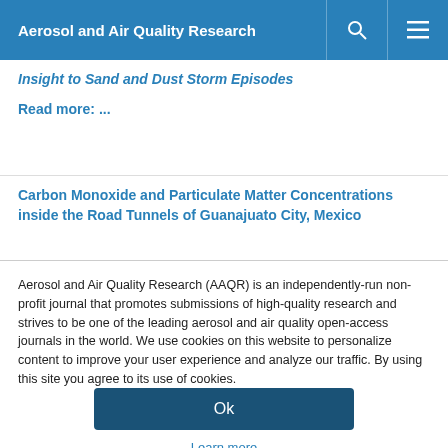Aerosol and Air Quality Research
Insight to Sand and Dust Storm Episodes
Read more: ...
Carbon Monoxide and Particulate Matter Concentrations inside the Road Tunnels of Guanajuato City, Mexico
Aerosol and Air Quality Research (AAQR) is an independently-run non-profit journal that promotes submissions of high-quality research and strives to be one of the leading aerosol and air quality open-access journals in the world. We use cookies on this website to personalize content to improve your user experience and analyze our traffic. By using this site you agree to its use of cookies.
Ok
Learn more